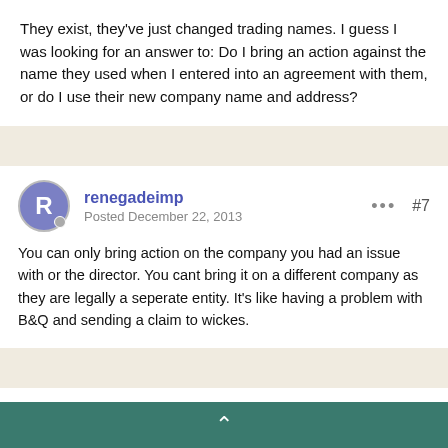They exist, they've just changed trading names. I guess I was looking for an answer to: Do I bring an action against the name they used when I entered into an agreement with them, or do I use their new company name and address?
renegadeimp
Posted December 22, 2013
#7
You can only bring action on the company you had an issue with or the director. You cant bring it on a different company as they are legally a seperate entity. It's like having a problem with B&Q and sending a claim to wickes.
Cowanjohnr
Posted December 27, 2013
#8